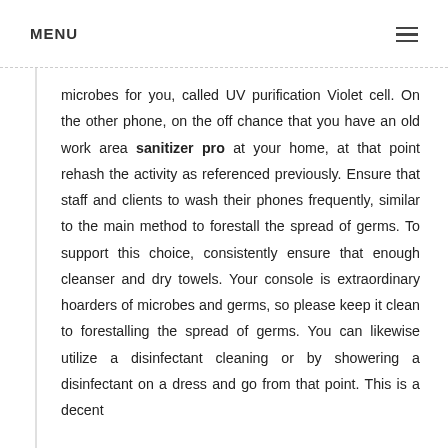MENU
microbes for you, called UV purification Violet cell. On the other phone, on the off chance that you have an old work area sanitizer pro at your home, at that point rehash the activity as referenced previously. Ensure that staff and clients to wash their phones frequently, similar to the main method to forestall the spread of germs. To support this choice, consistently ensure that enough cleanser and dry towels. Your console is extraordinary hoarders of microbes and germs, so please keep it clean to forestalling the spread of germs. You can likewise utilize a disinfectant cleaning or by showering a disinfectant on a dress and go from that point. This is a decent